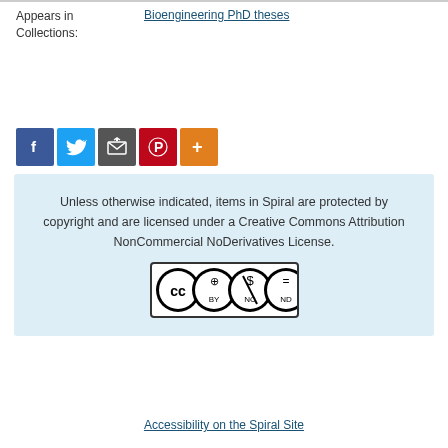Appears in Collections: Bioengineering PhD theses
[Figure (infographic): Social sharing buttons: Facebook (blue), Twitter (light blue), Email/Share (grey), Pinterest (red), More (orange)]
Unless otherwise indicated, items in Spiral are protected by copyright and are licensed under a Creative Commons Attribution NonCommercial NoDerivatives License.
[Figure (logo): Creative Commons CC BY-NC-ND license badge]
Accessibility on the Spiral Site